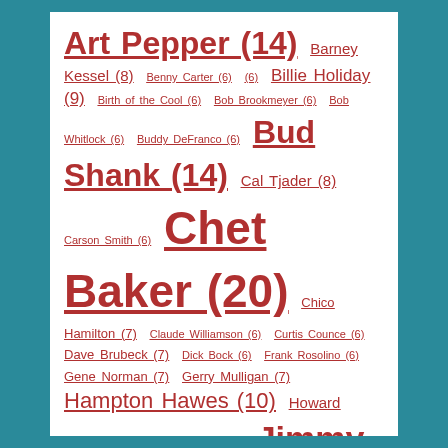Art Pepper (14) Barney Kessel (8) Benny Carter (6) Billie Holiday (9) Birth of the Cool (6) Bob Brookmeyer (6) Bob Whitlock (6) Buddy DeFranco (6) Bud Shank (14) Cal Tjader (8) Carson Smith (6) Chet Baker (20) Chico Hamilton (7) Claude Williamson (6) Curtis Counce (6) Dave Brubeck (7) Dick Bock (6) Frank Rosolino (6) Gene Norman (7) Gerry Mulligan (7) Hampton Hawes (10) Howard Rumsey (8) Jazz City (8) Jimmy Giuffre (15) June Christy (7) Larry Bunker (8) Leroy Vinnegar (6) Lighthouse All-Stars (8) Max Roach (6) Miles Davis (10) New PJ Labels (9) New PJ Series Covers (8) Pete Jolly (6) Red Mitchell (7) Richie Kamuca (6) Russ Freeman (17) Shelly Manne ...